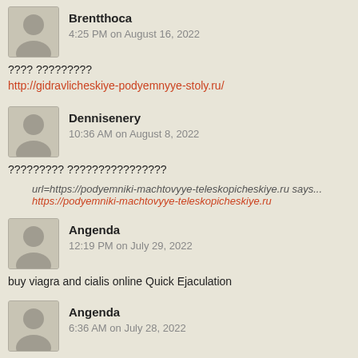Brentthoca
4:25 PM on August 16, 2022
???? ?????????
http://gidravlicheskiye-podyemnyye-stoly.ru/
Dennisenery
10:36 AM on August 8, 2022
????????? ????????????????
url=https://podyemniki-machtovyye-teleskopicheskiye.ru says...
https://podyemniki-machtovyye-teleskopicheskiye.ru
Angenda
12:19 PM on July 29, 2022
buy viagra and cialis online Quick Ejaculation
Angenda
6:36 AM on July 28, 2022
generic cialis for sale Buying Acticin In Internet
JesseSpoor